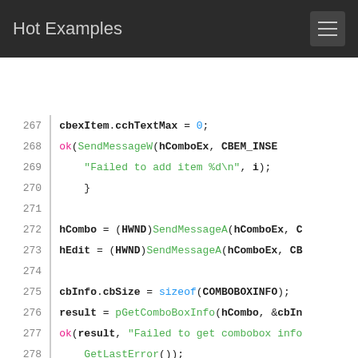Hot Examples
[Figure (screenshot): Code viewer showing lines 267-285 of C/C++ source code with syntax highlighting on dark background header and white code area]
267     cbexItem.cchTextMax = 0;
268     ok(SendMessageW(hComboEx, CBEM_INSE
269         "Failed to add item %d\n", i);
270     }
271
272     hCombo = (HWND)SendMessageA(hComboEx, C
273     hEdit = (HWND)SendMessageA(hComboEx, CB
274
275     cbInfo.cbSize = sizeof(COMBOBOXINFO);
276     result = pGetComboBoxInfo(hCombo, &cbIn
277     ok(result, "Failed to get combobox info
278         GetLastError());
279     hList = cbInfo.hwndList;
280
281     ok(GetFocus() == hComboExParentWnd,
282         "Focus not on Main Window, instead o
283
284     /* Click on the button to drop down the
285     x = cbInfo.rcButton.left + (cbInfo.rcBu